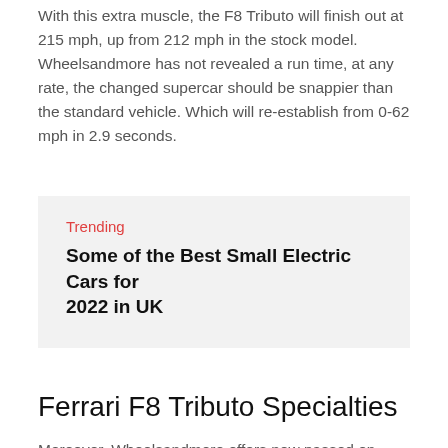With this extra muscle, the F8 Tributo will finish out at 215 mph, up from 212 mph in the stock model. Wheelsandmore has not revealed a run time, at any rate, the changed supercar should be snappier than the standard vehicle. Which will re-establish from 0-62 mph in 2.9 seconds.
Trending
Some of the Best Small Electric Cars for 2022 in UK
Ferrari F8 Tributo Specialties
Moreover, Wheelsandmore offers new passed on wheels with three plans that underscore the vehicle's wedge shape. These custom wheels measure 9.5 × 21 slithers on the front local area and 12.5 × 22 killjoys at the back. They are encased by five-star tires in a long time 255/30 ZR 21 and 335/25 ZR 22. A complete